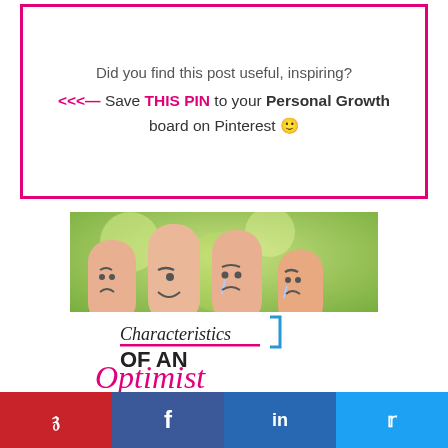Did you find this post useful, inspiring?
<<<— Save THIS PIN to your Personal Growth board on Pinterest 🙂
[Figure (photo): Four fingers with faces drawn on them showing different emotions (sad, happy/winking, crying, angry), set against a green bokeh background. Overlaid with a white card reading 'Characteristics OF AN Optimist' in mixed typography with a pink accent bar and blue bracket.]
Pinterest | Facebook | LinkedIn | Twitter social share buttons